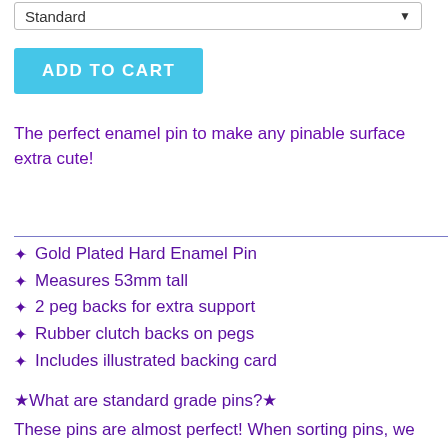Standard
ADD TO CART
The perfect enamel pin to make any pinable surface extra cute!
Gold Plated Hard Enamel Pin
Measures 53mm tall
2 peg backs for extra support
Rubber clutch backs on pegs
Includes illustrated backing card
★What are standard grade pins?★
These pins are almost perfect! When sorting pins, we